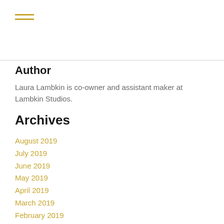[Figure (other): Hamburger menu icon with two horizontal golden lines]
Author
Laura Lambkin is co-owner and assistant maker at Lambkin Studios.
Archives
August 2019
July 2019
June 2019
May 2019
April 2019
March 2019
February 2019
January 2019
December 2018
November 2018
October 2018
September 2018